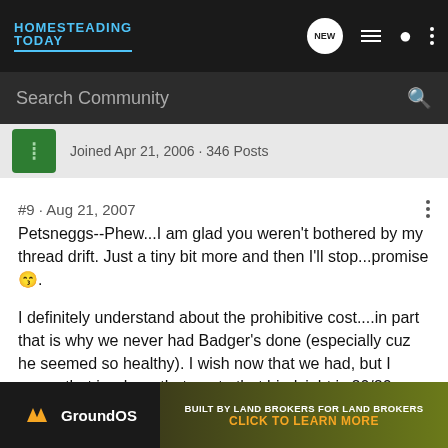HOMESTEADING TODAY
Search Community
Joined Apr 21, 2006 · 346 Posts
#9 · Aug 21, 2007
Petsneggs--Phew...I am glad you weren't bothered by my thread drift. Just a tiny bit more and then I'll stop...promise 😛.
I definitely understand about the prohibitive cost....in part that is why we never had Badger's done (especially cuz he seemed so healthy). I wish now that we had, but I guess that is where that quote that hindsight is 20/20 comes from.....
A few things we noticed w/ him long before he got bad (that we now rea... go thru spells w... n't even
[Figure (screenshot): GroundOS advertisement banner - BUILT BY LAND BROKERS FOR LAND BROKERS - CLICK TO LEARN MORE]